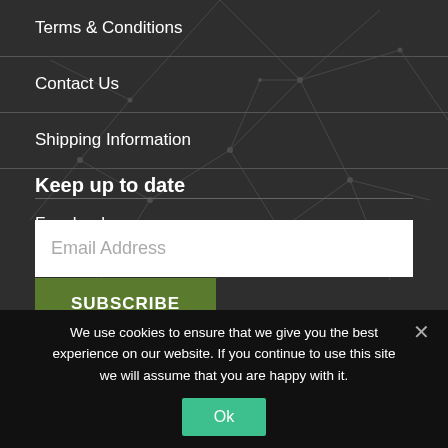Terms & Conditions
Contact Us
Shipping Information
Keep up to date
Facebook
Twitter
Email Address
SUBSCRIBE
We use cookies to ensure that we give you the best experience on our website. If you continue to use this site we will assume that you are happy with it.
Ok